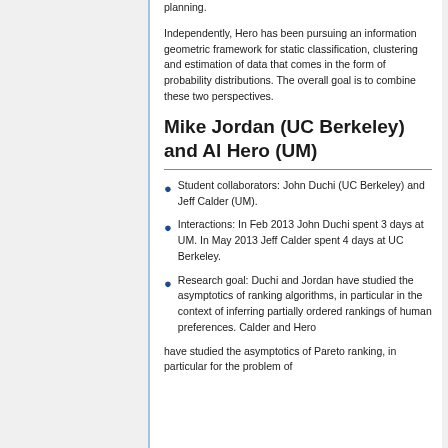planning.
Independently, Hero has been pursuing an information geometric framework for static classification, clustering and estimation of data that comes in the form of probability distributions. The overall goal is to combine these two perspectives.
Mike Jordan (UC Berkeley) and Al Hero (UM)
Student collaborators: John Duchi (UC Berkeley) and Jeff Calder (UM).
Interactions: In Feb 2013 John Duchi spent 3 days at UM. In May 2013 Jeff Calder spent 4 days at UC Berkeley.
Research goal: Duchi and Jordan have studied the asymptotics of ranking algorithms, in particular in the context of inferring partially ordered rankings of human preferences. Calder and Hero
have studied the asymptotics of Pareto ranking, in particular for the problem of